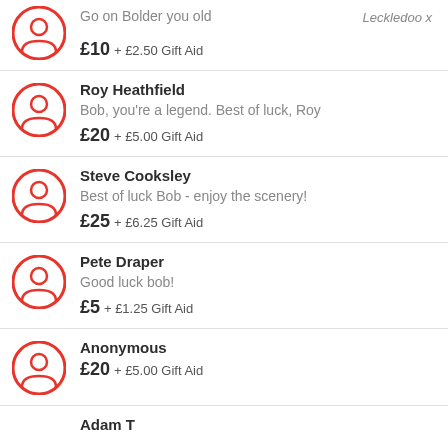Go on Bolder you old | Leckledoo x | £10 + £2.50 Gift Aid
Roy Heathfield | Bob, you're a legend. Best of luck, Roy | £20 + £5.00 Gift Aid
Steve Cooksley | Best of luck Bob - enjoy the scenery! | £25 + £6.25 Gift Aid
Pete Draper | Good luck bob! | £5 + £1.25 Gift Aid
Anonymous | £20 + £5.00 Gift Aid
Adam T